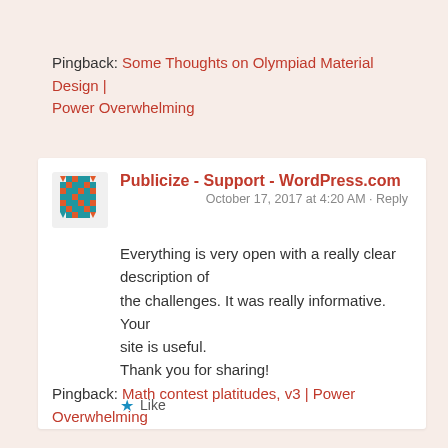Pingback: Some Thoughts on Olympiad Material Design | Power Overwhelming
[Figure (logo): Blue geometric snowflake/mosaic avatar icon for Publicize - Support - WordPress.com]
Publicize - Support - WordPress.com
October 17, 2017 at 4:20 AM • Reply
Everything is very open with a really clear description of the challenges. It was really informative. Your site is useful. Thank you for sharing!
★ Like
Pingback: Math contest platitudes, v3 | Power Overwhelming